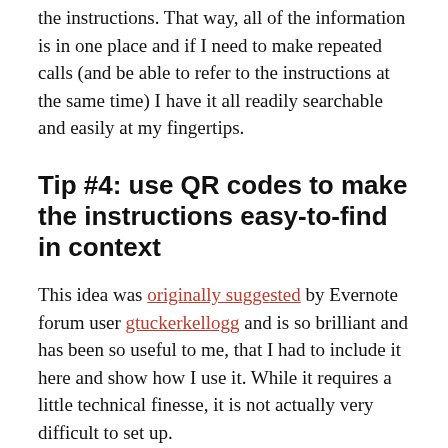the instructions. That way, all of the information is in one place and if I need to make repeated calls (and be able to refer to the instructions at the same time) I have it all readily searchable and easily at my fingertips.
Tip #4: use QR codes to make the instructions easy-to-find in context
This idea was originally suggested by Evernote forum user gtuckerkellogg and is so brilliant and has been so useful to me, that I had to include it here and show how I use it. While it requires a little technical finesse, it is not actually very difficult to set up.
For those not familiar with QR codes, they are images that are associated with objects (like a website link,